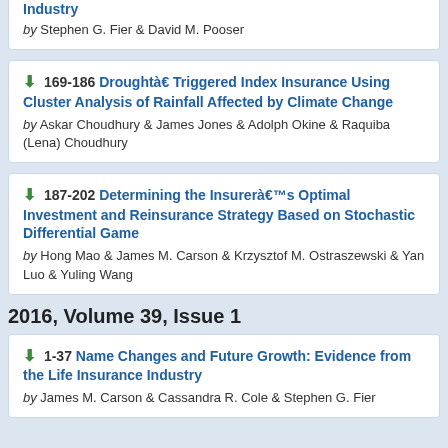Industry by Stephen G. Fier & David M. Pooser
169-186 Drought‐Triggered Index Insurance Using Cluster Analysis of Rainfall Affected by Climate Change by Askar Choudhury & James Jones & Adolph Okine & Raquiba (Lena) Choudhury
187-202 Determining the Insurer's Optimal Investment and Reinsurance Strategy Based on Stochastic Differential Game by Hong Mao & James M. Carson & Krzysztof M. Ostraszewski & Yan Luo & Yuling Wang
2016, Volume 39, Issue 1
1-37 Name Changes and Future Growth: Evidence from the Life Insurance Industry by James M. Carson & Cassandra R. Cole & Stephen G. Fier